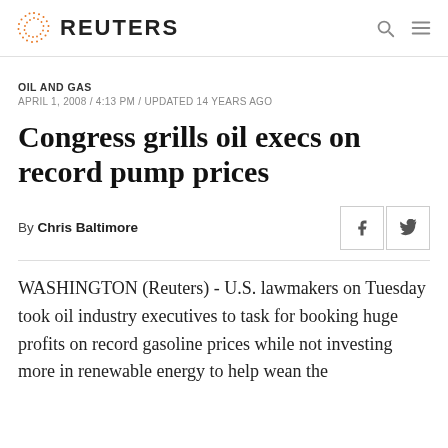REUTERS
OIL AND GAS
APRIL 1, 2008 / 4:13 PM / UPDATED 14 YEARS AGO
Congress grills oil execs on record pump prices
By Chris Baltimore
WASHINGTON (Reuters) - U.S. lawmakers on Tuesday took oil industry executives to task for booking huge profits on record gasoline prices while not investing more in renewable energy to help wean the